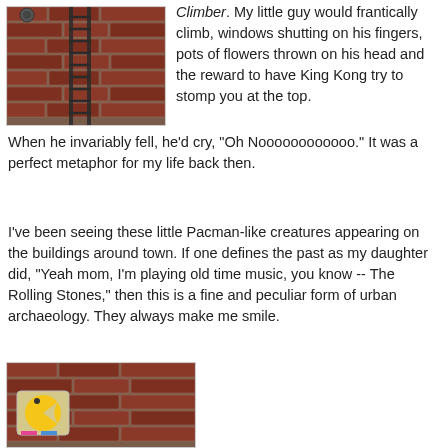[Figure (photo): Photo of a brick building with a fire escape ladder, taken from below looking up]
Climber. My little guy would frantically climb, windows shutting on his fingers, pots of flowers thrown on his head and the reward to have King Kong try to stomp you at the top. When he invariably fell, he'd cry, "Oh Noooooooooooo." It was a perfect metaphor for my life back then.
I've been seeing these little Pacman-like creatures appearing on the buildings around town. If one defines the past as my daughter did, "Yeah mom, I'm playing old time music, you know -- The Rolling Stones," then this is a fine and peculiar form of urban archaeology. They always make me smile.
[Figure (photo): Photo of a Pacman-like street art creature on a brick wall, colorful tile mosaic]